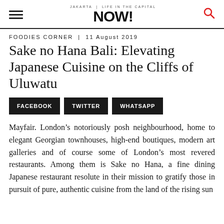NOW! Jakarta – FOODIES CORNER | 11 August 2019
Sake no Hana Bali: Elevating Japanese Cuisine on the Cliffs of Uluwatu
FACEBOOK
TWITTER
WHATSAPP
Mayfair. London's notoriously posh neighbourhood, home to elegant Georgian townhouses, high-end boutiques, modern art galleries and of course some of London's most revered restaurants. Among them is Sake no Hana, a fine dining Japanese restaurant resolute in their mission to gratify those in pursuit of pure, authentic cuisine from the land of the rising sun